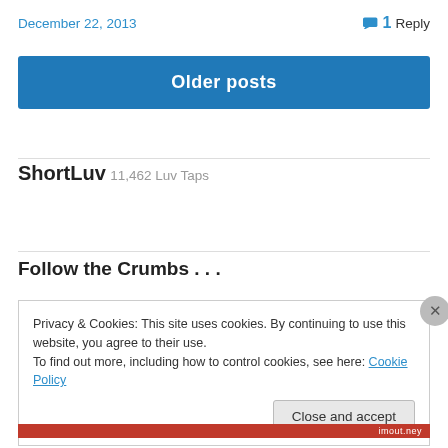December 22, 2013
1 Reply
Older posts
ShortLuv
11,462 Luv Taps
Follow the Crumbs . . .
Privacy & Cookies: This site uses cookies. By continuing to use this website, you agree to their use.
To find out more, including how to control cookies, see here: Cookie Policy
Close and accept